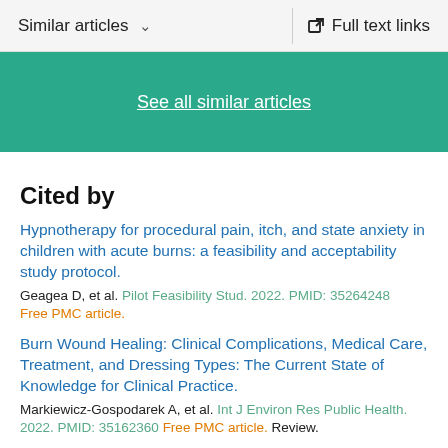Similar articles   ∨   Full text links
See all similar articles
Cited by
Hypnotherapy for procedural pain, itch, and state anxiety in children with acute burns: a feasibility and acceptability study protocol.
Geagea D, et al. Pilot Feasibility Stud. 2022. PMID: 35264248 Free PMC article.
Burn Wound Healing: Clinical Complications, Medical Care, Treatment, and Dressing Types: The Current State of Knowledge for Clinical Practice.
Markiewicz-Gospodarek A, et al. Int J Environ Res Public Health. 2022. PMID: 35162360 Free PMC article. Review.